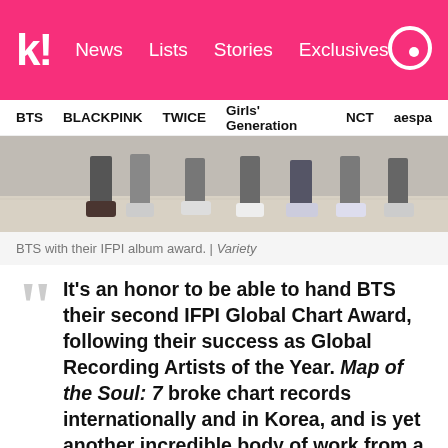k! News Lists Stories Exclusives
BTS BLACKPINK TWICE Girls' Generation NCT aespa
[Figure (photo): Photo of BTS members' feet and lower legs on a wooden floor, wearing various shoes and sneakers.]
BTS with their IFPI album award. | Variety
It's an honor to be able to hand BTS their second IFPI Global Chart Award, following their success as Global Recording Artists of the Year. Map of the Soul: 7 broke chart records internationally and in Korea, and is yet another incredible body of work from a band that continues to delight music lovers globally.